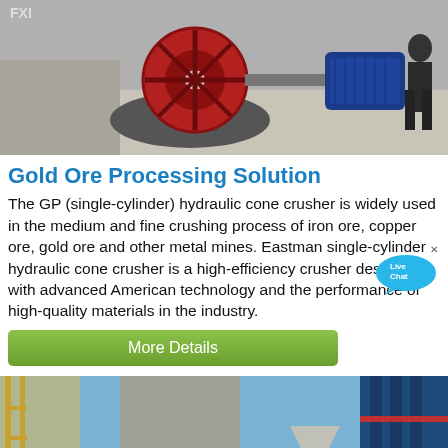[Figure (photo): Industrial machinery photo showing a red cone crusher machine with a blue electric motor, with a worker in the background on a concrete surface.]
Gold Ore Processing Solution
The GP (single-cylinder) hydraulic cone crusher is widely used in the medium and fine crushing process of iron ore, copper ore, gold ore and other metal mines. Eastman single-cylinder hydraulic cone crusher is a high-efficiency crusher designed with advanced American technology and the performance of high-quality materials in the industry.
[Figure (other): Live Chat speech bubble widget overlay]
[Figure (photo): Industrial processing plant photo showing large white cylindrical pipes/tubes and blue steel structures, likely a mineral processing facility.]